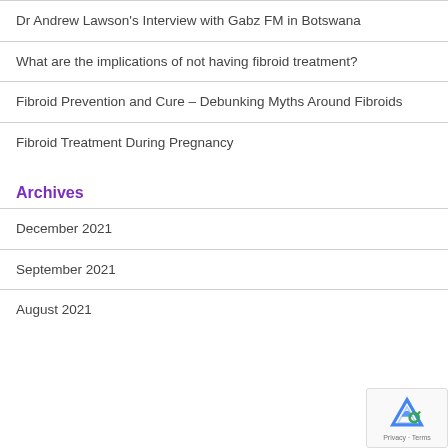Dr Andrew Lawson's Interview with Gabz FM in Botswana
What are the implications of not having fibroid treatment?
Fibroid Prevention and Cure – Debunking Myths Around Fibroids
Fibroid Treatment During Pregnancy
Archives
December 2021
September 2021
August 2021